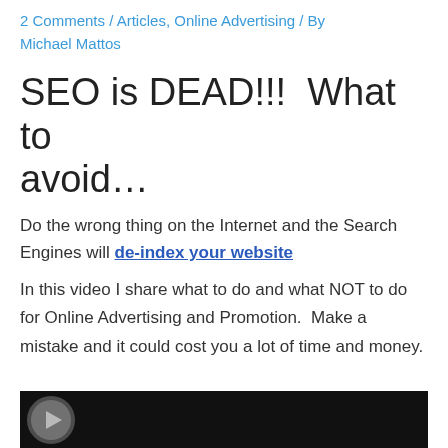2 Comments / Articles, Online Advertising / By Michael Mattos
SEO is DEAD!!!  What to avoid…
Do the wrong thing on the Internet and the Search Engines will de-index your website
In this video I share what to do and what NOT to do for Online Advertising and Promotion.  Make a mistake and it could cost you a lot of time and money.
[Figure (screenshot): Video thumbnail showing a person, dark background, partially visible at bottom of page]